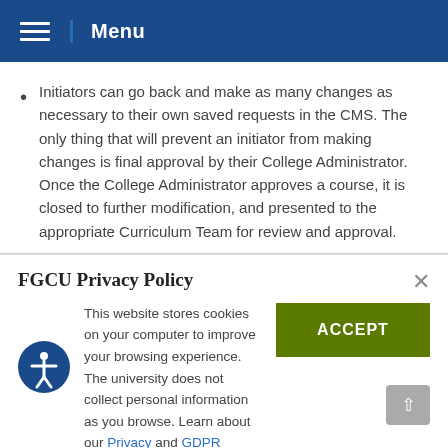Menu
Initiators can go back and make as many changes as necessary to their own saved requests in the CMS. The only thing that will prevent an initiator from making changes is final approval by their College Administrator. Once the College Administrator approves a course, it is closed to further modification, and presented to the appropriate Curriculum Team for review and approval.
FGCU Privacy Policy
This website stores cookies on your computer to improve your browsing experience. The university does not collect personal information as you browse. Learn about our Privacy and GDPR statements.